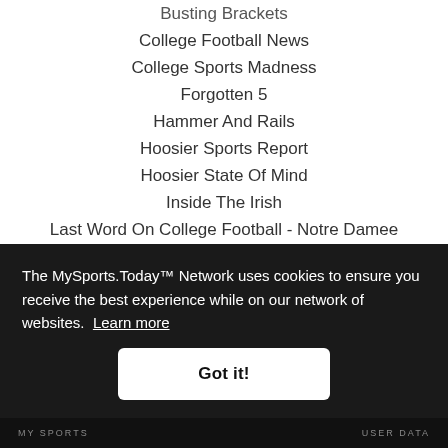Busting Brackets
College Football News
College Sports Madness
Forgotten 5
Hammer And Rails
Hoosier Sports Report
Hoosier State Of Mind
Inside The Irish
Last Word On College Football - Notre Damee
One Foot Down
Punt, John Punt
The MySports.Today™ Network uses cookies to ensure you receive the best experience while on our network of websites. Learn more
MY SPORTS   USER DATA